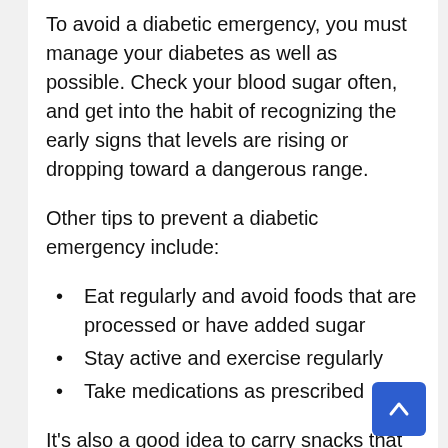To avoid a diabetic emergency, you must manage your diabetes as well as possible. Check your blood sugar often, and get into the habit of recognizing the early signs that levels are rising or dropping toward a dangerous range.
Other tips to prevent a diabetic emergency include:
Eat regularly and avoid foods that are processed or have added sugar
Stay active and exercise regularly
Take medications as prescribed
It's also a good idea to carry snacks that you can eat to quickly get sugar into your blood to treat hypoglycemia. These might include